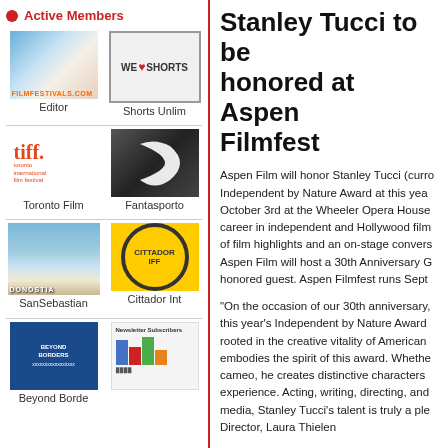Active Members
[Figure (photo): Photo of a person outdoors (Editor)]
Editor
[Figure (logo): WE LOVE SHORTS sign logo]
Shorts Unlim
[Figure (logo): Toronto International Film Festival tiff. logo]
Toronto Film
[Figure (logo): Fantasporto dark logo with crescent/swoosh]
Fantasporto
[Figure (photo): SanSebastian donostia sign by waterfront]
SanSebastian
[Figure (logo): Cittador IFF yellow circle logo]
Cittador Int
[Figure (logo): Beyond Borders blue logo]
Beyond Borde
[Figure (bar-chart): Newsletter Subscribers bar chart]
Stanley Tucci to be honored at Aspen Filmfest
Aspen Film will honor Stanley Tucci (currently shown...) Independent by Nature Award at this year's... October 3rd at the Wheeler Opera House... career in independent and Hollywood film... of film highlights and an on-stage conversation... Aspen Film will host a 30th Anniversary Gala... honored guest. Aspen Filmfest runs September...
"On the occasion of our 30th anniversary, this year's Independent by Nature Award... rooted in the creative vitality of American... embodies the spirit of this award. Whether... cameo, he creates distinctive characters... experience. Acting, writing, directing, and... media, Stanley Tucci's talent is truly a pleasure... Director, Laura Thielen
Aspen Film's Independent by Nature Award... body of work resonates with audiences as... elevating the contemporary movie experience... Christie, Michael Douglas, Harrison Ford,... Pollack, Bob Rafelson, and Rob Reiner.